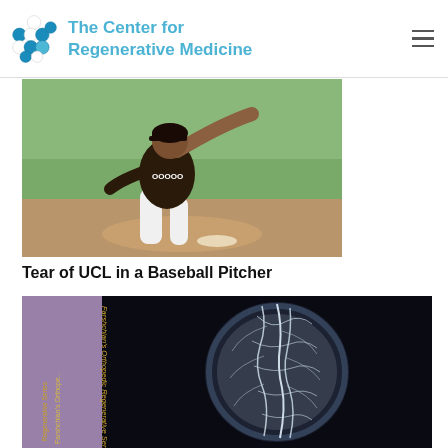The Center for Regenerative Medicine
[Figure (photo): Baseball pitcher in dark uniform mid-throw on a baseball field with green outfield in background]
Tear of UCL in a Baseball Pitcher
[Figure (photo): Book cover for Farshchian's Orthopedic Regenerative Series showing an X-ray or medical illustration of a human leg with nerve/vascular structures visible against a dark background]